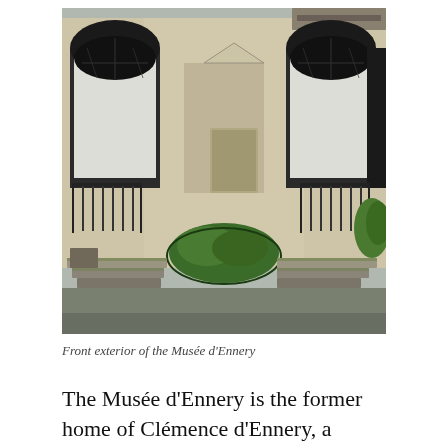[Figure (photo): Front exterior of the Musée d'Ennery, showing a grand Haussmann-style building facade with three large arched windows with ornate ironwork grilles, a decorative central doorway with pediment, curved stone staircases with wrought-iron railings on each side, and a rounded topiary hedge between the staircases. The stone is light beige/grey with green moss on the steps.]
Front exterior of the Musée d'Ennery
The Musée d'Ennery is the former home of Clémence d'Ennery, a well-known actress of